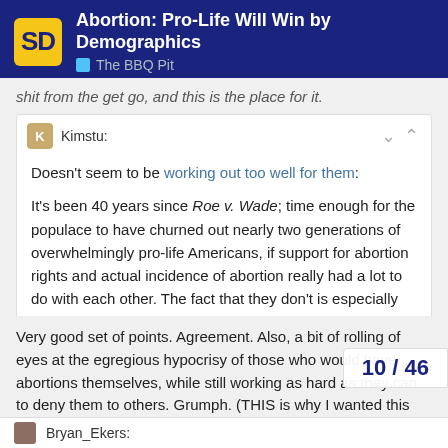Abortion: Pro-Life Will Win by Demographics | The BBQ Pit
shit from the get go, and this is the place for it.
Kimstu:
Doesn't seem to be working out too well for them:
It's been 40 years since Roe v. Wade; time enough for the populace to have churned out nearly two generations of overwhelmingly pro-life Americans, if support for abortion rights and actual incidence of abortion really had a lot to do with each other. The fact that they don't is especially clear when you consider how many abortions are sought by opponents of abortion rights: . . . .
Very good set of points. Agreement. Also, a bit of rolling of eyes at the egregious hypocrisy of those who would have abortions themselves, while still working as hard as they can to deny them to others. Grumph. (THIS is why I wanted this thread in the Pit!)
10 / 46
Bryan_Ekers: